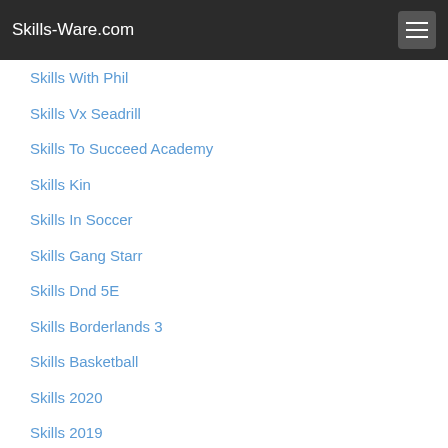Skills-Ware.com
Skills With Phil
Skills Vx Seadrill
Skills To Succeed Academy
Skills Kin
Skills In Soccer
Skills Gang Starr
Skills Dnd 5E
Skills Borderlands 3
Skills Basketball
Skills 2020
Skills 2019
Mbappe Skills
G Skill Trident Z Royal
G Skill Royal